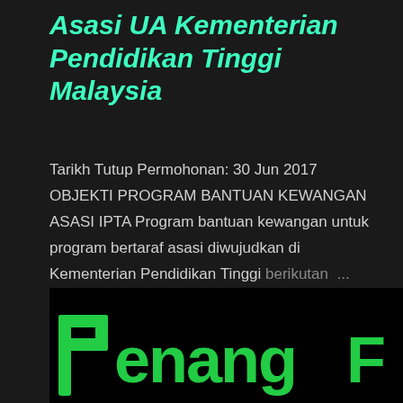Asasi UA Kementerian Pendidikan Tinggi Malaysia
Tarikh Tutup Permohonan: 30 Jun 2017 OBJEKTI PROGRAM BANTUAN KEWANGAN ASASI IPTA Program bantuan kewangan untuk program bertaraf asasi diwujudkan di Kementerian Pendidikan Tinggi berikutan ...
SHARE
READ MORE
[Figure (logo): Penang Free logo on black background showing green stylized lettering 'Penang F' partially visible]